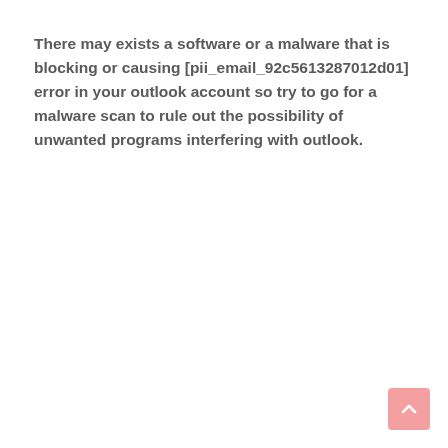There may exists a software or a malware that is blocking or causing [pii_email_92c5613287012d01] error in your outlook account so try to go for a malware scan to rule out the possibility of unwanted programs interfering with outlook.